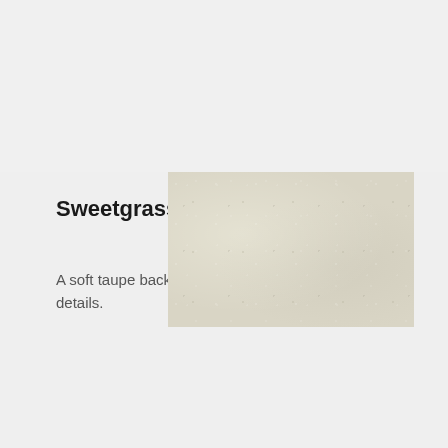[Figure (photo): Sweetgrass material swatch — soft taupe/beige textured surface with limestone-like speckled details]
Sweetgrass
B
A soft taupe background with limestone-inspired details.
[Figure (photo): Snow Crest material swatch — very pale off-white/cream surface with subtle rectangular highlight]
Snow Crest